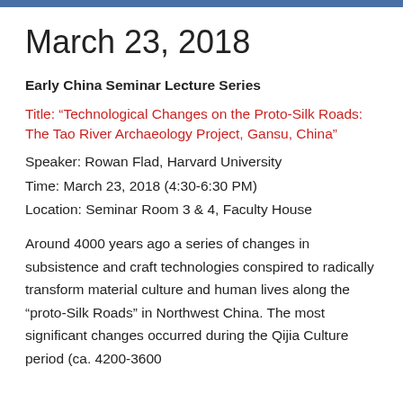March 23, 2018
Early China Seminar Lecture Series
Title: “Technological Changes on the Proto-Silk Roads: The Tao River Archaeology Project, Gansu, China”
Speaker: Rowan Flad, Harvard University
Time: March 23, 2018 (4:30-6:30 PM)
Location: Seminar Room 3 & 4, Faculty House
Around 4000 years ago a series of changes in subsistence and craft technologies conspired to radically transform material culture and human lives along the “proto-Silk Roads” in Northwest China. The most significant changes occurred during the Qijia Culture period (ca. 4200-3600...